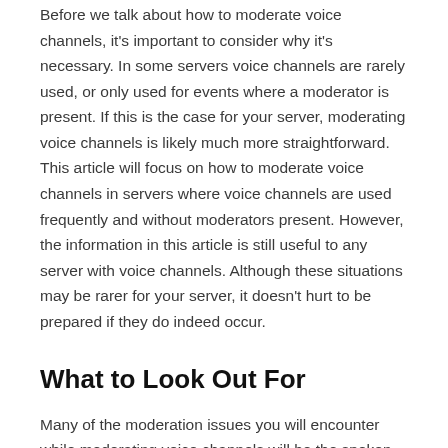Before we talk about how to moderate voice channels, it's important to consider why it's necessary. In some servers voice channels are rarely used, or only used for events where a moderator is present. If this is the case for your server, moderating voice channels is likely much more straightforward. This article will focus on how to moderate voice channels in servers where voice channels are used frequently and without moderators present. However, the information in this article is still useful to any server with voice channels. Although these situations may be rarer for your server, it doesn't hurt to be prepared if they do indeed occur.
What to Look Out For
Many of the moderation issues you will encounter while moderating voice channels will be the spoken equivalent of situations you would encounter in text channels. However,